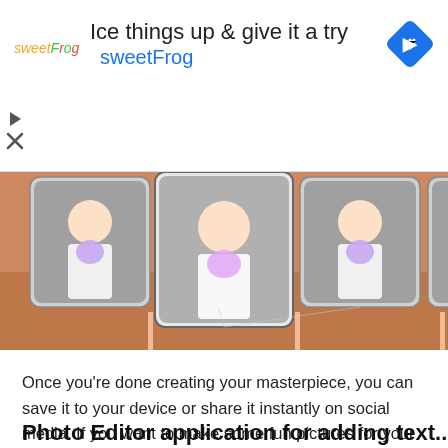[Figure (screenshot): Advertisement banner for sweetFrog with logo, headline 'Ice things up & give it a try', brand name 'sweetFrog' in blue, and a blue diamond navigation icon. Below are play and close controls.]
[Figure (photo): A horizontal filmstrip of photos showing a girl with braids holding a colorful lollipop, repeated across a warm peach/orange background.]
Once you’re done creating your masterpiece, you can save it to your device or share it instantly on social media. If you want to make some fun pictures for your friends and family, this is the perfect app for you. It has good features like saving text art images in the gallery of mobile phones. It allows changing text size, color, and font. It also allows you to vary the background of texts.
Photo Editor application for adding text...